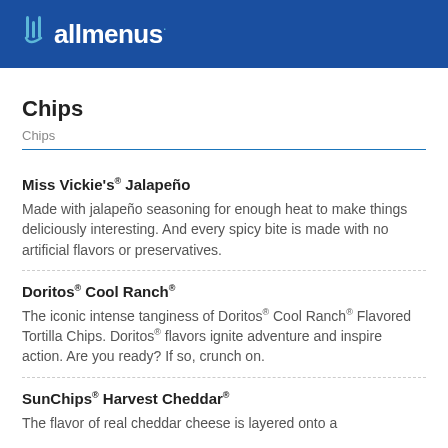allmenus
Chips
Chips
Miss Vickie's® Jalapeño
Made with jalapeño seasoning for enough heat to make things deliciously interesting. And every spicy bite is made with no artificial flavors or preservatives.
Doritos® Cool Ranch®
The iconic intense tanginess of Doritos® Cool Ranch® Flavored Tortilla Chips. Doritos® flavors ignite adventure and inspire action. Are you ready? If so, crunch on.
SunChips® Harvest Cheddar®
The flavor of real cheddar cheese is layered onto a